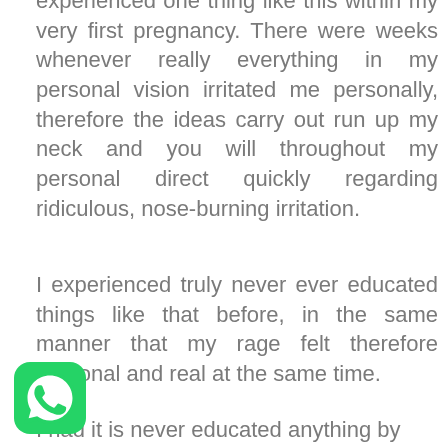experienced one thing like this within my very first pregnancy. There were weeks whenever really everything in my personal vision irritated me personally, therefore the ideas carry out run up my neck and you will throughout my personal direct quickly regarding ridiculous, nose-burning irritation.
I experienced truly never ever educated things like that before, in the same manner that my rage felt therefore irrational and real at the same time.
I had it is never educated anything by